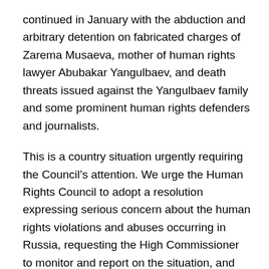continued in January with the abduction and arbitrary detention on fabricated charges of Zarema Musaeva, mother of human rights lawyer Abubakar Yangulbaev, and death threats issued against the Yangulbaev family and some prominent human rights defenders and journalists.
This is a country situation urgently requiring the Council’s attention. We urge the Human Rights Council to adopt a resolution expressing serious concern about the human rights violations and abuses occurring in Russia, requesting the High Commissioner to monitor and report on the situation, and appointing a dedicated Special Rapporteur to address the human rights situation in Russia.
Yours sincerely,